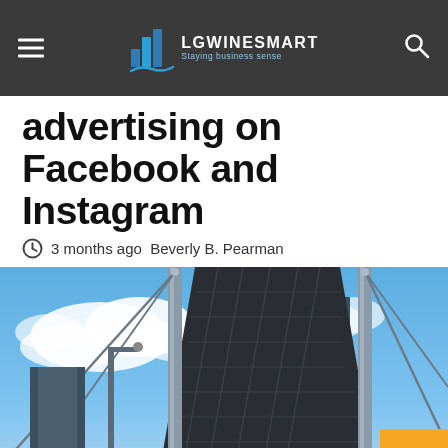LGWINESMART Staying business sense
advertising on Facebook and Instagram
3 months ago  Beverly B. Pearman
[Figure (photo): Looking up view of glass and steel modern buildings against a partly cloudy blue sky, with geometric angular facades and cable supports visible]